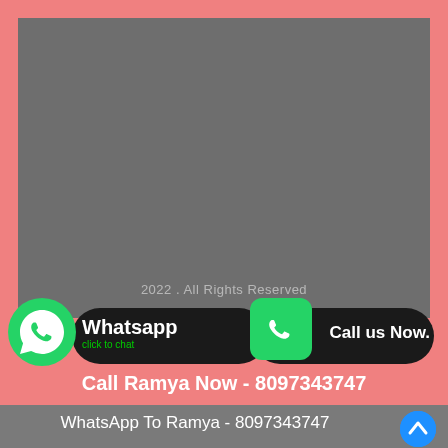[Figure (infographic): Gray placeholder box with pink border background, WhatsApp and Call Now buttons, and contact information for Ramya]
2022 . All Rights Reserved
Whatsapp
click to chat
Call us Now.
Call Ramya Now - 8097343747
WhatsApp To Ramya - 8097343747